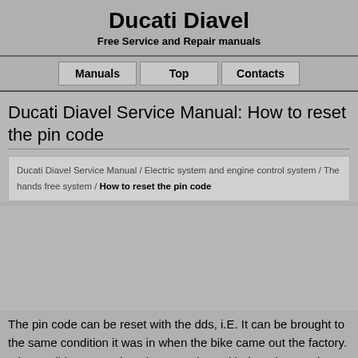Ducati Diavel
Free Service and Repair manuals
Manuals | Top | Contacts
Ducati Diavel Service Manual: How to reset the pin code
Ducati Diavel Service Manual / Electric system and engine control system / The hands free system / How to reset the pin code
The pin code can be reset with the dds, i.E. It can be brought to the same condition it was in when the bike came out the factory. It is possible to complete the procedure with the relevant pin code reset function.